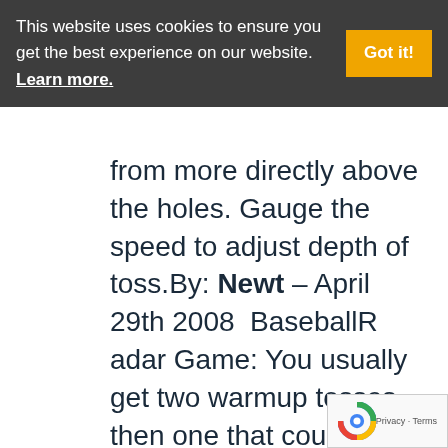This website uses cookies to ensure you get the best experience on our website. Learn more. Got it!
from more directly above the holes. Gauge the speed to adjust depth of toss.By: Newt – April 29th 2008  BaseballRadar Game: You usually get two warmup tosses then one that counts. Instead if firing hard as you can, throw slow. On 2n thrdow try to throw slighty faster. Guess speed.On third throw fasterBy: Newt – April 29th 2008  Cat Rack: Instead of firing the ball at the cats. Toss each ball using